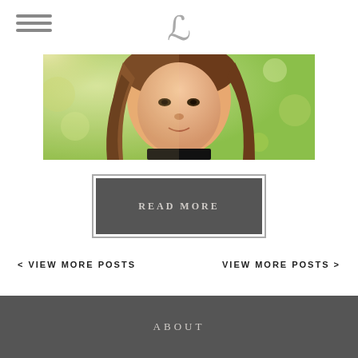L (logo script)
[Figure (photo): Portrait photo of a young woman with brown hair, outdoors with green bokeh background and warm sunlight]
READ MORE
< VIEW MORE POSTS
VIEW MORE POSTS >
ABOUT